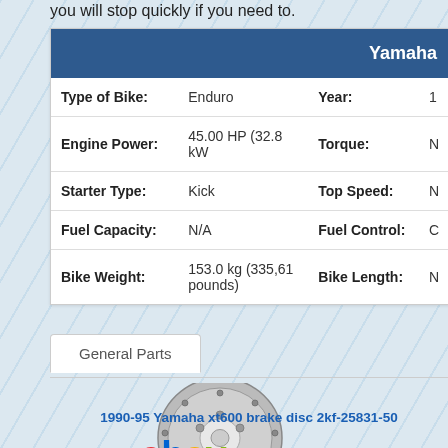you will stop quickly if you need to.
|  | Yamaha |  |  |
| --- | --- | --- | --- |
| Type of Bike: | Enduro | Year: | 1 |
| Engine Power: | 45.00 HP (32.8 kW | Torque: | N |
| Starter Type: | Kick | Top Speed: | N |
| Fuel Capacity: | N/A | Fuel Control: | C |
| Bike Weight: | 153.0 kg (335,61 pounds) | Bike Length: | N |
General Parts
[Figure (photo): Brake disc and Renthal branded part product image]
1990-95 Yamaha xt600 brake disc 2kf-25831-50
[Figure (logo): eBay logo in red, blue, yellow, green colors]